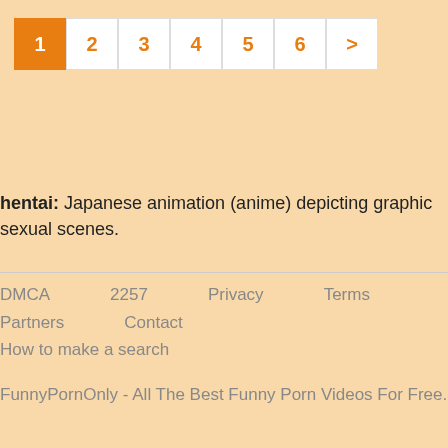Pagination: 1 2 3 4 5 6 >
hentai: Japanese animation (anime) depicting graphic sexual scenes.
DMCA  2257  Privacy  Terms
Partners  Contact
How to make a search

FunnyPornOnly - All The Best Funny Porn Videos For Free.

© 2019-2020